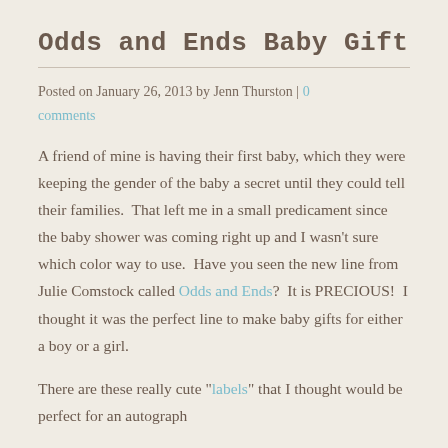Odds and Ends Baby Gift
Posted on January 26, 2013 by Jenn Thurston | 0 comments
A friend of mine is having their first baby, which they were keeping the gender of the baby a secret until they could tell their families.  That left me in a small predicament since the baby shower was coming right up and I wasn't sure which color way to use.  Have you seen the new line from Julie Comstock called Odds and Ends?  It is PRECIOUS!  I thought it was the perfect line to make baby gifts for either a boy or a girl.
There are these really cute "labels" that I thought would be perfect for an autograph